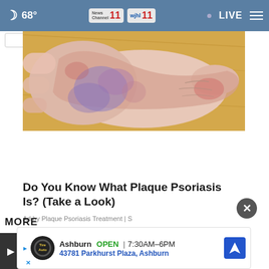68° News Channel 11 wjhl 11 LIVE
[Figure (photo): A close-up photo of a human foot/ankle showing skin condition (plaque psoriasis) — reddish, blotchy, scaly patches on the sole and heel of the foot, held against a light wood background.]
Do You Know What Plaque Psoriasis Is? (Take a Look)
Ad by Plaque Psoriasis Treatment | S
MORE
[Figure (infographic): Bottom advertisement banner: Tire Auto logo (round dark badge). Text: Ashburn OPEN 7:30AM–6PM / 43781 Parkhurst Plaza, Ashburn. Blue navigation arrow icon on right. Small arrow and X icon on left.]